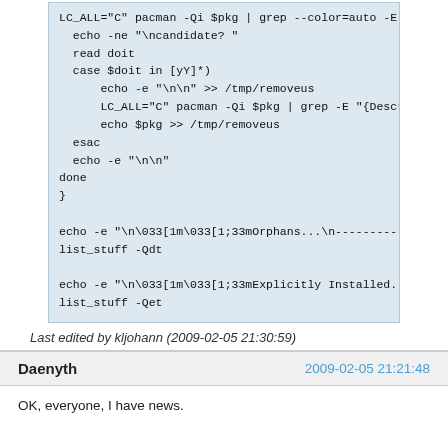[Figure (screenshot): Code block showing shell script snippet with echo, read, case, pacman commands]
Last edited by kljohann (2009-02-05 21:30:59)
Daenyth  2009-02-05 21:21:48
OK, everyone, I have news.